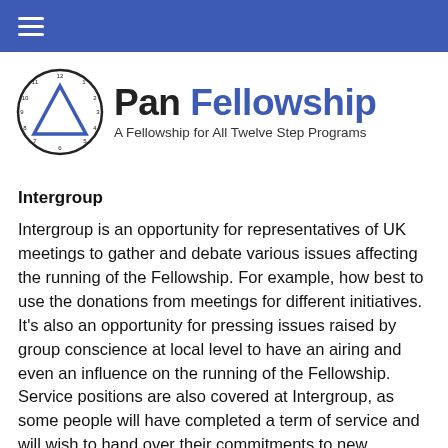≡ (hamburger menu)
[Figure (logo): Pan Fellowship logo: a circle with a clock face containing a blue triangle, next to the text 'Pan Fellowship' in black and blue, with subtitle 'A Fellowship for All Twelve Step Programs']
Intergroup
Intergroup is an opportunity for representatives of UK meetings to gather and debate various issues affecting the running of the Fellowship. For example, how best to use the donations from meetings for different initiatives. It's also an opportunity for pressing issues raised by group conscience at local level to have an airing and even an influence on the running of the Fellowship. Service positions are also covered at Intergroup, as some people will have completed a term of service and will wish to hand over their commitments to new